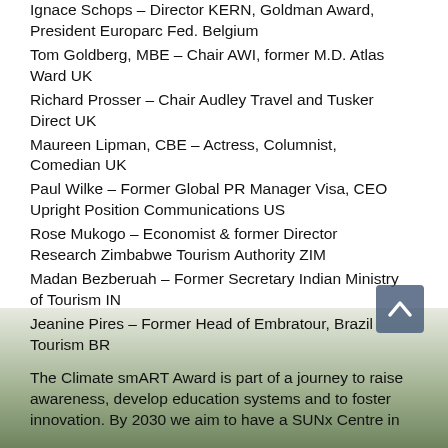Ignace Schops – Director KERN, Goldman Award, President Europarc Fed. Belgium
Tom Goldberg, MBE – Chair AWI, former M.D. Atlas Ward UK
Richard Prosser – Chair Audley Travel and Tusker Direct UK
Maureen Lipman, CBE – Actress, Columnist, Comedian UK
Paul Wilke – Former Global PR Manager Visa, CEO Upright Position Communications US
Rose Mukogo – Economist & former Director Research Zimbabwe Tourism Authority ZIM
Madan Bezberuah – Former Secretary Indian Ministry of Tourism IN
Jeanine Pires – Former Head of Embratour, Brazil Tourism BR
The Climate smART Award is part of a journey to raise awareness, develop education systems and to foster innovation. By 2030 we aim to have a SUNx Centre in